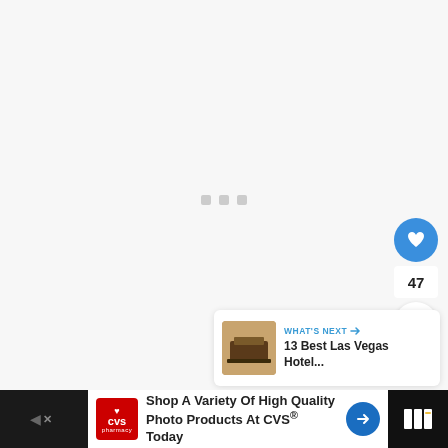[Figure (screenshot): Loading screen with three gray dots centered on a light gray background]
[Figure (screenshot): Blue circular heart/like button with count 47 and white share button below on right side]
[Figure (screenshot): What's Next panel showing '13 Best Las Vegas Hotel...' with thumbnail image]
[Figure (screenshot): CVS Pharmacy advertisement bar at bottom: 'Shop A Variety Of High Quality Photo Products At CVS® Today']